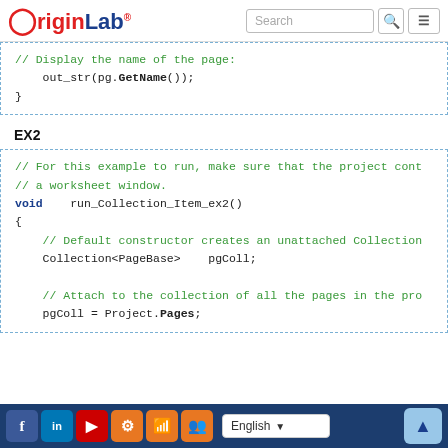OriginLab [Search bar] [Menu]
// Display the name of the page:
    out_str(pg.GetName());
}
EX2
// For this example to run, make sure that the project cont
// a worksheet window.
void    run_Collection_Item_ex2()
{
    // Default constructor creates an unattached Collection
    Collection<PageBase>    pgColl;

    // Attach to the collection of all the pages in the pro
    pgColl = Project.Pages;
Facebook LinkedIn YouTube Settings RSS Group | English | Up